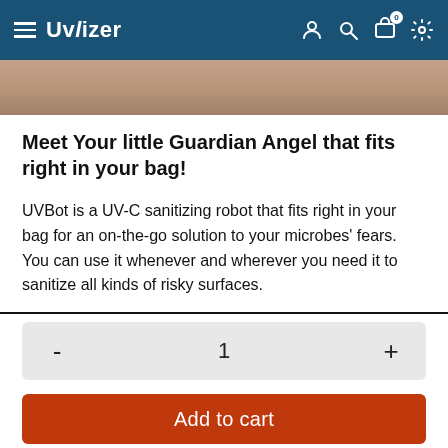Uvlizer
[Figure (photo): Partial product image strip showing a surface, brownish/tan color background]
Meet Your little Guardian Angel that fits right in your bag!
UVBot is a UV-C sanitizing robot that fits right in your bag for an on-the-go solution to your microbes' fears. You can use it whenever and wherever you need it to sanitize all kinds of risky surfaces.
Quantity selector: - 1 +
Add to cart